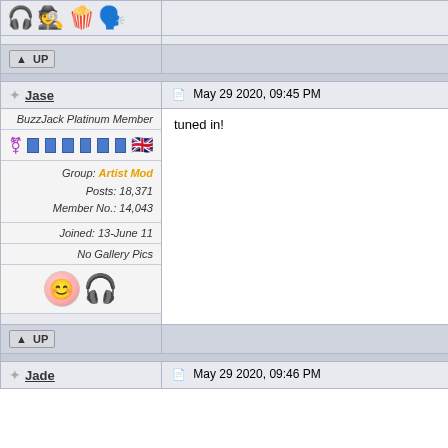[Figure (infographic): Top row: emoji icons (headphones, detective, popcorn, ghost)]
[Figure (infographic): UP button row]
Jase — May 29 2020, 09:45 PM
BuzzJack Platinum Member
Group: Artist Mod
Posts: 18,371
Member No.: 14,043
Joined: 13-June 11
No Gallery Pics
[Figure (infographic): Avatar face and headphone badge icons]
tuned in!
[Figure (infographic): UP button row]
Jade — May 29 2020, 09:46 PM